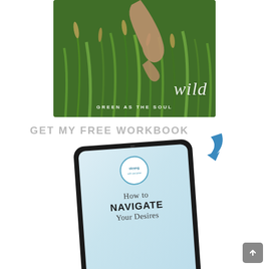[Figure (photo): A hand touching wild grass and plants in a green nature scene with the text 'wild' in italic script and 'GREEN AS THE SOUL' below it in uppercase white letters.]
GET MY FREE WORKBOOK
[Figure (illustration): A tablet mockup showing a workbook cover titled 'How to NAVIGATE Your Desires - A Workbook by Strong with Purpose' with a circular logo at the top. A blue arrow points down toward the tablet.]